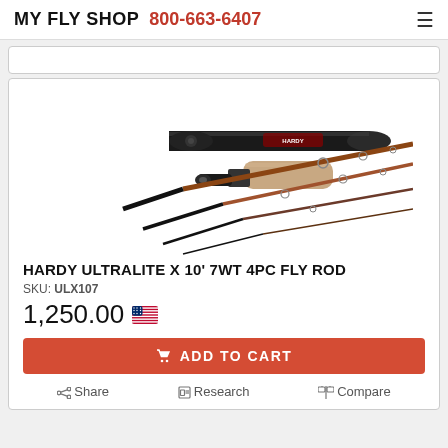MY FLY SHOP 800-663-6407
[Figure (photo): Hardy Ultralite X fly rod with cork grip and black tube carrying case, showing multiple rod sections fanned out]
HARDY ULTRALITE X 10' 7WT 4PC FLY ROD
SKU: ULX107
1,250.00
ADD TO CART
Share  Research  Compare